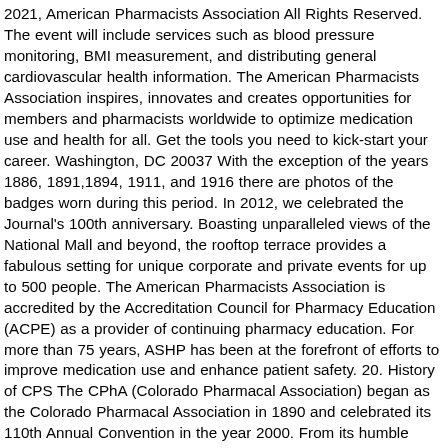2021, American Pharmacists Association All Rights Reserved. The event will include services such as blood pressure monitoring, BMI measurement, and distributing general cardiovascular health information. The American Pharmacists Association inspires, innovates and creates opportunities for members and pharmacists worldwide to optimize medication use and health for all. Get the tools you need to kick-start your career. Washington, DC 20037 With the exception of the years 1886, 1891,1894, 1911, and 1916 there are photos of the badges worn during this period. In 2012, we celebrated the Journal's 100th anniversary. Boasting unparalleled views of the National Mall and beyond, the rooftop terrace provides a fabulous setting for unique corporate and private events for up to 500 people. The American Pharmacists Association is accredited by the Accreditation Council for Pharmacy Education (ACPE) as a provider of continuing pharmacy education. For more than 75 years, ASHP has been at the forefront of efforts to improve medication use and enhance patient safety. 20. History of CPS The CPhA (Colorado Pharmacal Association) began as the Colorado Pharmacal Association in 1890 and celebrated its 110th Annual Convention in the year 2000. From its humble beginnings to becoming one of pharmacy's leading journals, we commemorate its editors (past and present) with this unique booklet. The first 16 paintings in the Great Moments in Pharmacy series pay tribute to the accomplishments of the apothecaries and their predecessors in Babylon, China, Egypt, Persia and Europe. The gallery is located in the